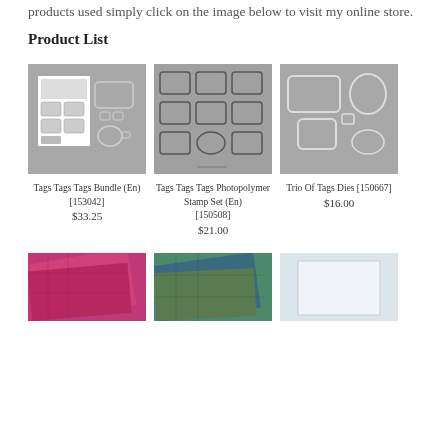products used simply click on the image below to visit my online store.
Product List
[Figure (photo): Tags Tags Tags Bundle (En) product image on grey background]
[Figure (photo): Tags Tags Tags Photopolymer Stamp Set (En) product image on grey background]
[Figure (photo): Trio Of Tags Dies product image on grey background]
Tags Tags Tags Bundle (En)
[153042]
$33.25
Tags Tags Tags Photopolymer Stamp Set (En)
[150508]
$21.00
Trio Of Tags Dies
[150667]
$16.00
[Figure (photo): Pink patterned paper product image]
[Figure (photo): Teal/plaid patterned paper product image]
[Figure (photo): White/light paper product image]